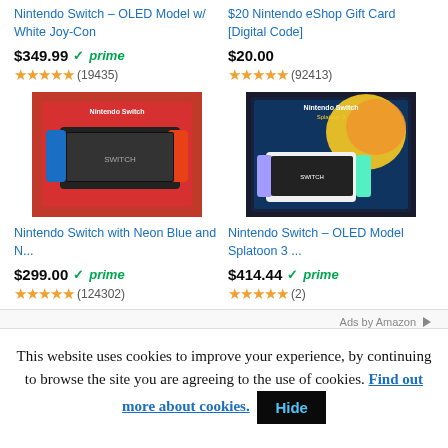Nintendo Switch – OLED Model w/ White Joy-Con
$20 Nintendo eShop Gift Card [Digital Code]
$349.99 prime
(19435)
$20.00
(92413)
[Figure (photo): Nintendo Switch with Neon Blue and Red Joy-Con product box]
[Figure (photo): Nintendo Switch OLED Model Splatoon 3 edition product box]
Nintendo Switch with Neon Blue and N...
Nintendo Switch – OLED Model Splatoon 3 ...
$299.00 prime
(124302)
$414.44 prime
(2)
Ads by Amazon
This website uses cookies to improve your experience, by continuing to browse the site you are agreeing to the use of cookies. Find out more about cookies. Hide